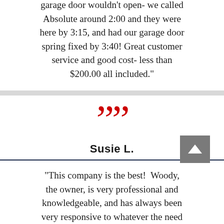garage door wouldn't open- we called Absolute around 2:00 and they were here by 3:15, and had our garage door spring fixed by 3:40! Great customer service and good cost- less than $200.00 all included."
[Figure (other): Decorative red closing quotation marks icon, large, centered]
Susie L.
"This company is the best!  Woody, the owner, is very professional and knowledgeable, and has always been very responsive to whatever the need with the garage doors.  We have known Woody for the last 13 years and he